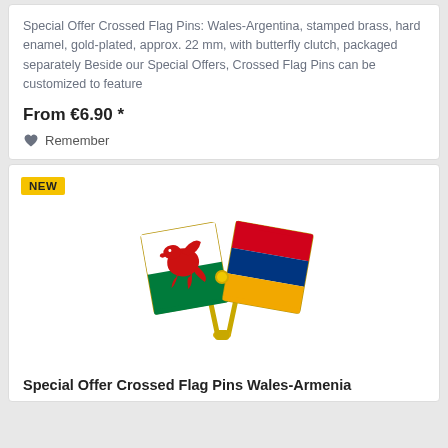Special Offer Crossed Flag Pins: Wales-Argentina, stamped brass, hard enamel, gold-plated, approx. 22 mm, with butterfly clutch, packaged separately Beside our Special Offers, Crossed Flag Pins can be customized to feature
From €6.90 *
Remember
[Figure (illustration): Crossed flag pin showing Wales flag (white top half with red dragon, green bottom half) and Armenia flag (horizontal tricolor: red, blue, orange) crossed on a gold pin stand. A yellow NEW badge appears in the top left of the card.]
Special Offer Crossed Flag Pins Wales-Armenia